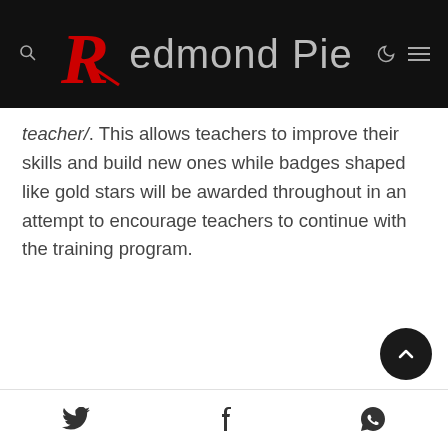Redmond Pie
teacher/. This allows teachers to improve their skills and build new ones while badges shaped like gold stars will be awarded throughout in an attempt to encourage teachers to continue with the training program.
Social share icons: Twitter, Facebook, WhatsApp